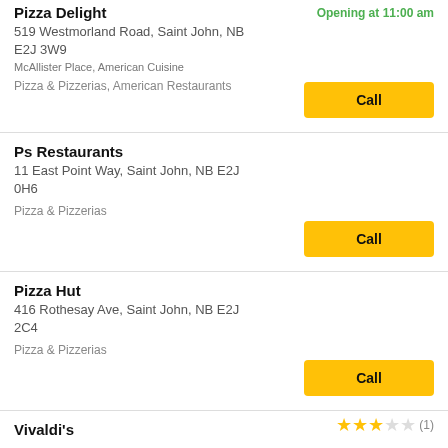Pizza Delight
519 Westmorland Road, Saint John, NB E2J 3W9
McAllister Place, American Cuisine
Pizza & Pizzerias, American Restaurants
Ps Restaurants
11 East Point Way, Saint John, NB E2J 0H6
Pizza & Pizzerias
Pizza Hut
416 Rothesay Ave, Saint John, NB E2J 2C4
Pizza & Pizzerias
Vivaldi's